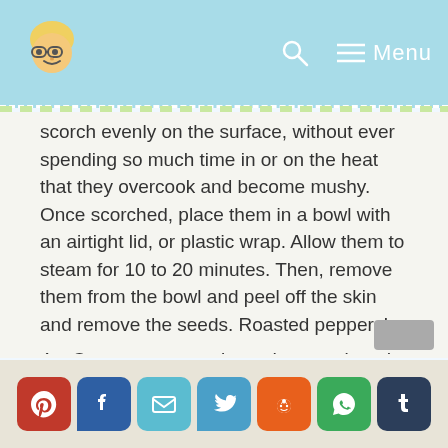Menu
scorch evenly on the surface, without ever spending so much time in or on the heat that they overcook and become mushy. Once scorched, place them in a bowl with an airtight lid, or plastic wrap. Allow them to steam for 10 to 20 minutes. Then, remove them from the bowl and peel off the skin and remove the seeds. Roasted peppers!
4. Once your sauce is made, taste it and adjust seasoning with salt and pepper. Set it aside.
[Figure (other): Social sharing buttons: Pinterest, Facebook, Email, Twitter, Reddit, WhatsApp, Tumblr]